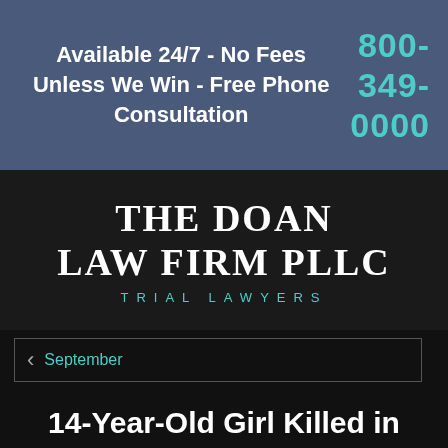Available 24/7 - No Fees Unless We Win - Free Phone Consultation
800-349-0000
[Figure (logo): The Doan Law Firm PLLC - Trial Lawyers logo, white serif text on dark background with teal accent]
September
14-Year-Old Girl Killed in Middletown, Ohio Waterpark
September 2021